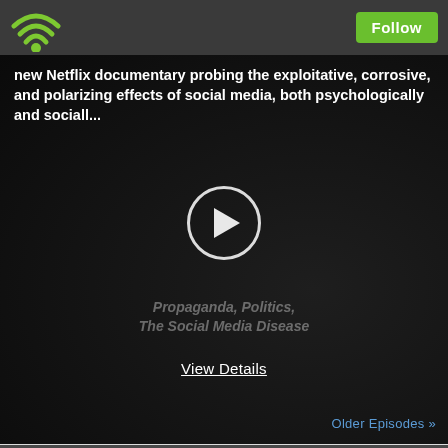[Figure (screenshot): Top navigation bar with WiFi/podcast icon on left and green Follow button on right, dark gray background]
[Figure (screenshot): Video thumbnail showing dark background with white bold text overlay about Netflix documentary on social media effects, a circular play button in the center, and watermark text 'Propaganda, Politics, The Social Media Disease' with 'View Details' link below]
new Netflix documentary probing the exploitative, corrosive, and polarizing effects of social media, both psychologically and sociall...
Propaganda, Politics, The Social Media Disease
View Details
Older Episodes »
COPYRIGHT TZX 2022 ALL RIGHTS RESERVED.
PODCAST POWERED BY PODBEAN
Play this podcast on Podbean App